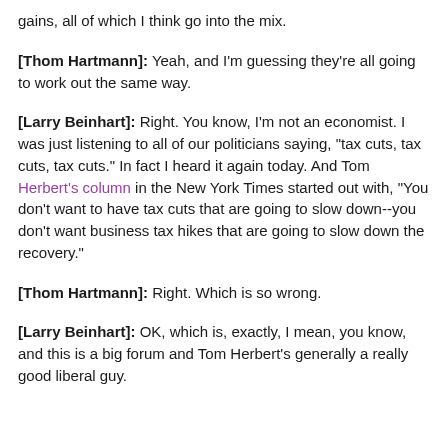gains, all of which I think go into the mix.
[Thom Hartmann]: Yeah, and I'm guessing they're all going to work out the same way.
[Larry Beinhart]: Right. You know, I'm not an economist. I was just listening to all of our politicians saying, "tax cuts, tax cuts, tax cuts." In fact I heard it again today. And Tom Herbert's column in the New York Times started out with, "You don't want to have tax cuts that are going to slow down--you don't want business tax hikes that are going to slow down the recovery."
[Thom Hartmann]: Right. Which is so wrong.
[Larry Beinhart]: OK, which is, exactly, I mean, you know, and this is a big forum and Tom Herbert's generally a really good liberal guy.